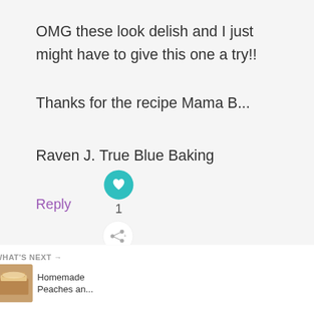OMG these look delish and I just might have to give this one a try!!
Thanks for the recipe Mama B...
Raven J. True Blue Baking
Reply
Mel
August 10, 2013 at 11:11 pm
WHAT'S NEXT → Homemade Peaches an...
It's time to talk about Alzheimer's.